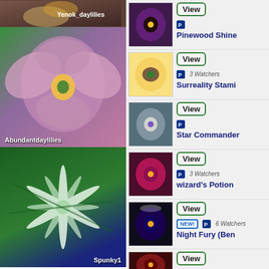[Figure (photo): Daylily flower photo with text 'Yenok_daylilies' overlay, top-left listing]
[Figure (photo): Pink/purple daylily flower with 'Abundantdaylilies' text overlay]
[Figure (photo): White/cream daylily flower with 'Spunky1' text overlay]
[Figure (photo): Dark purple/maroon daylily thumbnail - Pinewood Shine listing]
View
Pinewood Shine
[Figure (photo): Yellow/cream daylily with purple eye thumbnail - Surreality Stami listing]
View
3 Watchers
Surreality Stami
[Figure (photo): Lavender/grey daylily thumbnail - Star Commander listing]
View
Star Commander
[Figure (photo): Deep pink/magenta daylily thumbnail - wizard's Potion listing]
View
3 Watchers
wizard's Potion
[Figure (photo): Very dark purple/black daylily thumbnail - Night Fury (Ben listing]
View
NEW!
6 Watchers
Night Fury (Ben
[Figure (photo): Red/dark daylily thumbnail - bottom listing]
View